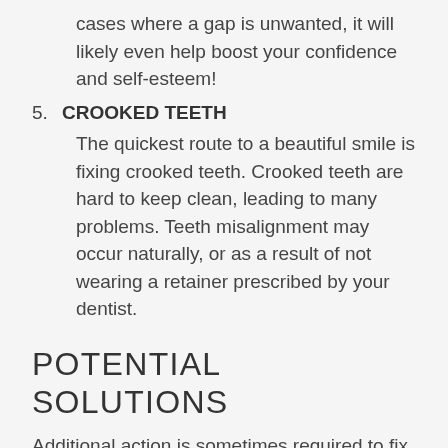cases where a gap is unwanted, it will likely even help boost your confidence and self-esteem!
5. CROOKED TEETH
The quickest route to a beautiful smile is fixing crooked teeth. Crooked teeth are hard to keep clean, leading to many problems. Teeth misalignment may occur naturally, or as a result of not wearing a retainer prescribed by your dentist.
POTENTIAL SOLUTIONS
Additional action is sometimes required to fix these problems. Coal Creek Family Dental offers a variety of cosmetic dentistry options to get your smile back on track!